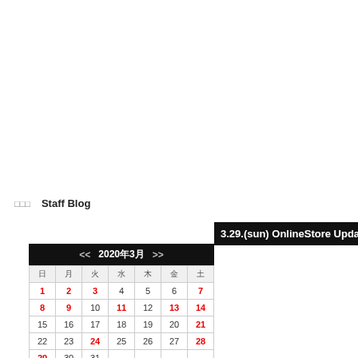□□□   Staff Blog
3.29.(sun) OnlineStore Updat
| □ | □ | □ | □ | □ | □ | □ |
| --- | --- | --- | --- | --- | --- | --- |
| 1 | 2 | 3 | 4 | 5 | 6 | 7 |
| 8 | 9 | 10 | 11 | 12 | 13 | 14 |
| 15 | 16 | 17 | 18 | 19 | 20 | 21 |
| 22 | 23 | 24 | 25 | 26 | 27 | 28 |
| 29 | 30 | 31 |  |  |  |  |